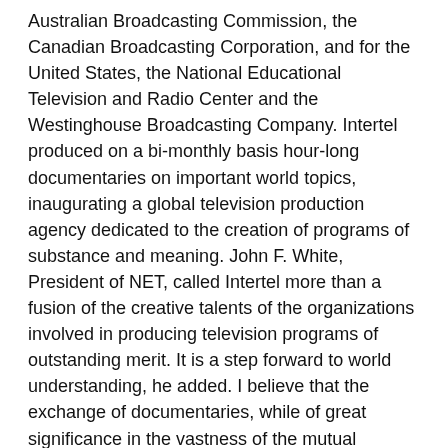Australian Broadcasting Commission, the Canadian Broadcasting Corporation, and for the United States, the National Educational Television and Radio Center and the Westinghouse Broadcasting Company. Intertel produced on a bi-monthly basis hour-long documentaries on important world topics, inaugurating a global television production agency dedicated to the creation of programs of substance and meaning. John F. White, President of NET, called Intertel more than a fusion of the creative talents of the organizations involved in producing television programs of outstanding merit. It is a step forward to world understanding, he added. I believe that the exchange of documentaries, while of great significance in the vastness of the mutual understanding in it can foster, is but the first step in a regular exchange of all forms of programming. Donald H. McGannon, President of WBC, hailed the new organization as a pool of the technical and creative ability and knowledge of all the groups which